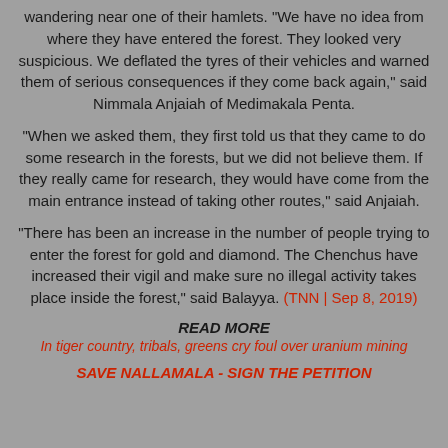wandering near one of their hamlets. "We have no idea from where they have entered the forest. They looked very suspicious. We deflated the tyres of their vehicles and warned them of serious consequences if they come back again," said Nimmala Anjaiah of Medimakala Penta.
"When we asked them, they first told us that they came to do some research in the forests, but we did not believe them. If they really came for research, they would have come from the main entrance instead of taking other routes," said Anjaiah.
"There has been an increase in the number of people trying to enter the forest for gold and diamond. The Chenchus have increased their vigil and make sure no illegal activity takes place inside the forest," said Balayya. (TNN | Sep 8, 2019)
READ MORE
In tiger country, tribals, greens cry foul over uranium mining
SAVE NALLAMALA - SIGN THE PETITION